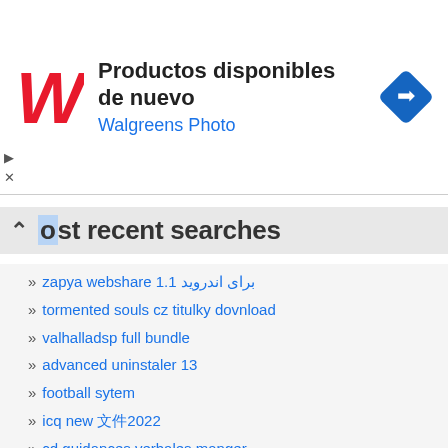[Figure (other): Walgreens Photo advertisement banner with Walgreens logo, text 'Productos disponibles de nuevo' and 'Walgreens Photo', and a blue navigation icon]
ost recent searches
zapya webshare 1.1 برای اندروید
tormented souls cz titulky dovnload
valhalladsp full bundle
advanced uninstaler 13
football sytem
icq new 版2022
cd guidances verbales manger
capicon 2.1.0.2 for windows 10 64 bit
xender telecharger java
download half life 1 windows 10
download super mario all star for pc
itunes 12.10.11.2 update
camden market 1lernerfolgskontrollen
download ativador do windows 7
acdsee browser
wwwxnxx usa18 com